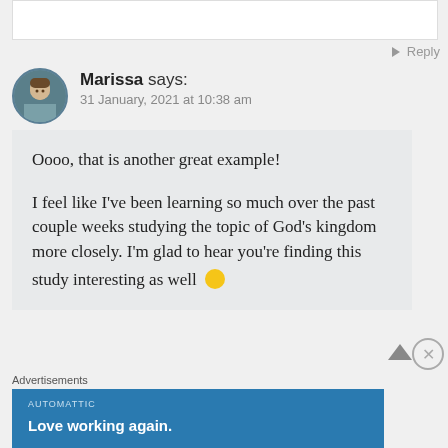Reply
Marissa says:
31 January, 2021 at 10:38 am
Oooo, that is another great example!

I feel like I've been learning so much over the past couple weeks studying the topic of God's kingdom more closely. I'm glad to hear you're finding this study interesting as well 🙂
Advertisements
AUTOMATTIC
Love working again.